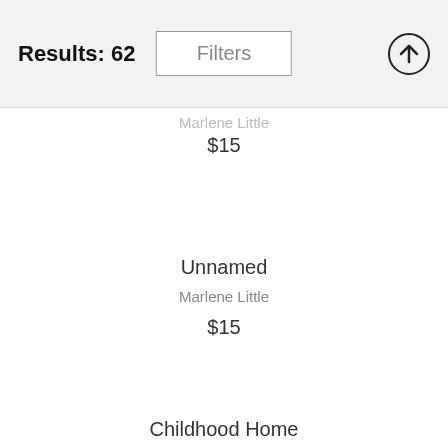Results: 62
Filters
Marlene Little
$15
Unnamed
Marlene Little
$15
Childhood Home
Marlene Little
$15